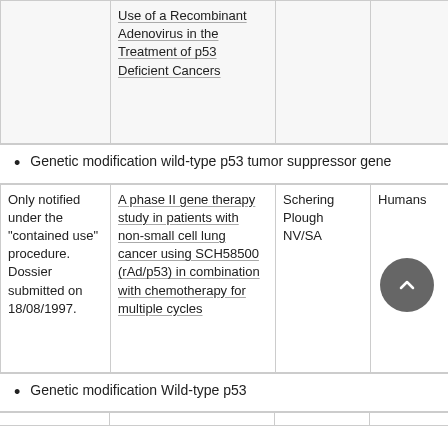|  | Use of a Recombinant Adenovirus in the Treatment of p53 Deficient Cancers |  |  |
| --- | --- | --- | --- |
|  | Use of a Recombinant Adenovirus in the Treatment of p53 Deficient Cancers |  |  |
Genetic modification wild-type p53 tumor suppressor gene
|  |  |  |  |
| --- | --- | --- | --- |
| Only notified under the "contained use" procedure. Dossier submitted on 18/08/1997. | A phase II gene therapy study in patients with non-small cell lung cancer using SCH58500 (rAd/p53) in combination with chemotherapy for multiple cycles | Schering Plough NV/SA | Humans |
Genetic modification Wild-type p53